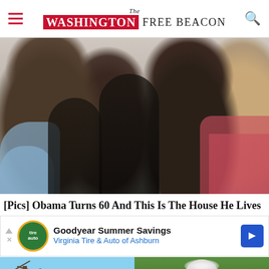The Washington Free Beacon
[Figure (photo): Family photo of Barack Obama, two daughters (Malia and Sasha), and Michelle Obama posing together, smiling]
[Pics] Obama Turns 60 And This Is The House He Lives
Goodyear Summer Savings
Virginia Tire & Auto of Ashburn
[Figure (photo): Bottom left: outdoor photo with bare tree branches against blue sky]
[Figure (photo): Bottom right: photo of a white-haired elderly man against green foliage background]